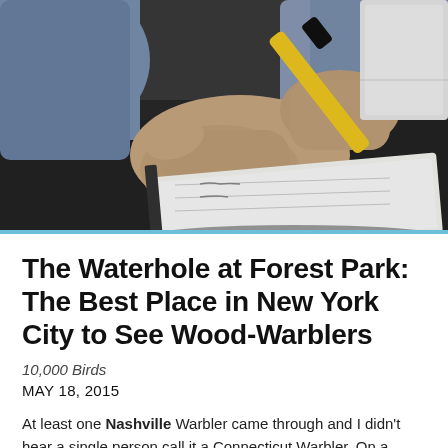[Figure (photo): Close-up photo of a person's hands writing in a small notebook with a yellow and black pen, sitting at a dark desk. A blue shirt sleeve and a bracelet are visible. A white notebook or tablet is partially visible in the upper right corner.]
The Waterhole at Forest Park: The Best Place in New York City to See Wood-Warblers
10,000 Birds
MAY 18, 2015
At least one Nashville Warbler came through and I didn't hear a single person call it a Connecticut Warbler. On a recent